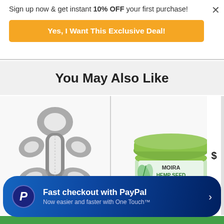Sign up now & get instant 10% OFF your first purchase!
Yes, I Want This Exclusive Deal!
You May Also Like
[Figure (photo): Baby/infant head support cushion product photo on white background]
[Figure (photo): MOIRA Hemp Seed Aloe Vera Moisturizing Cream jar with green lid]
Fast checkout with PayPal
Now easier and faster with One Touch™